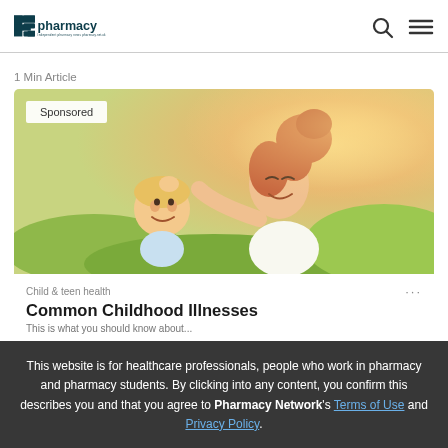P3pharmacy
1 Min Article
[Figure (photo): Mother and young child laughing together outdoors on green grass, with a 'Sponsored' badge overlay in the top-left corner of the image]
Child & teen health ...
Common Childhood Illnesses
This website is for healthcare professionals, people who work in pharmacy and pharmacy students. By clicking into any content, you confirm this describes you and that you agree to Pharmacy Network's Terms of Use and Privacy Policy.